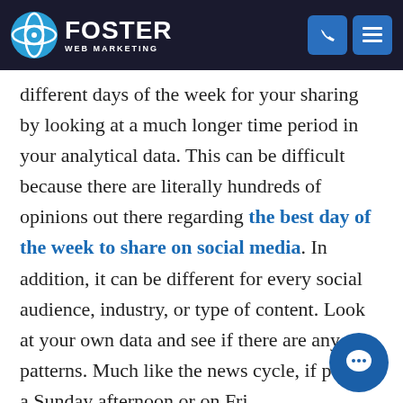Foster Web Marketing
different days of the week for your sharing by looking at a much longer time period in your analytical data. This can be difficult because there are literally hundreds of opinions out there regarding the best day of the week to share on social media. In addition, it can be different for every social audience, industry, or type of content. Look at your own data and see if there are any patterns. Much like the news cycle, if post on a Sunday afternoon or on Fri